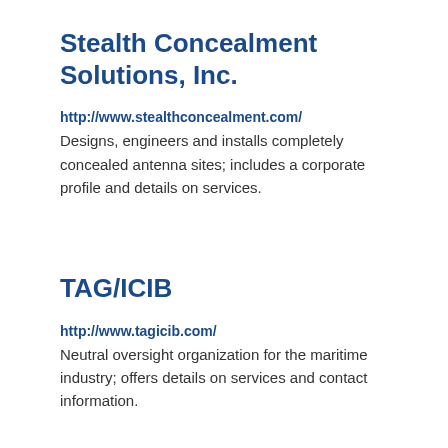Stealth Concealment Solutions, Inc.
http://www.stealthconcealment.com/
Designs, engineers and installs completely concealed antenna sites; includes a corporate profile and details on services.
TAG/ICIB
http://www.tagicib.com/
Neutral oversight organization for the maritime industry; offers details on services and contact information.